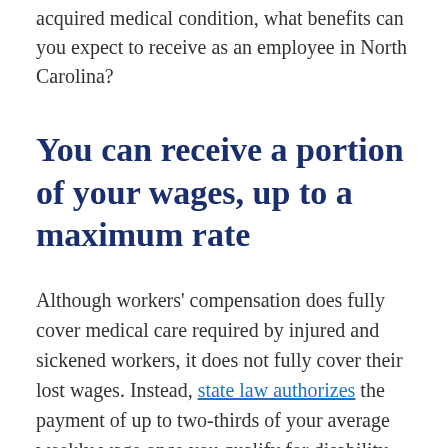acquired medical condition, what benefits can you expect to receive as an employee in North Carolina?
You can receive a portion of your wages, up to a maximum rate
Although workers' compensation does fully cover medical care required by injured and sickened workers, it does not fully cover their lost wages. Instead, state law authorizes the payment of up to two-thirds of your average weekly wage once you qualify for disability benefits through workers' compensation